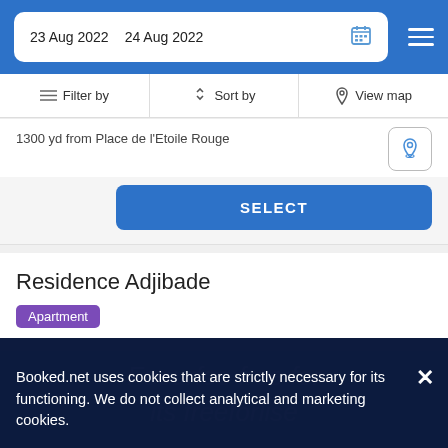23 Aug 2022  24 Aug 2022
Filter by  Sort by  View map
1300 yd from Place de l'Etoile Rouge
SELECT
Residence Adjibade
Apartment
[Figure (photo): Dark navy photo area of Residence Adjibade listing with faint watermark text]
Booked.net uses cookies that are strictly necessary for its functioning. We do not collect analytical and marketing cookies.